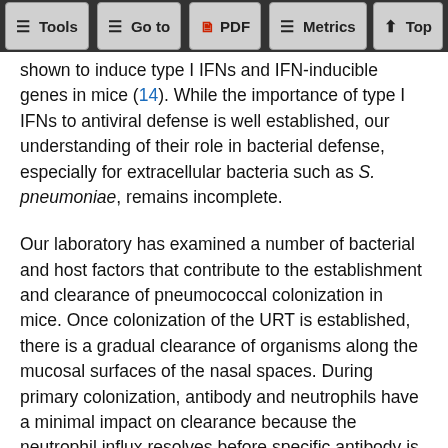Tools | Go to | PDF | Metrics | Top
shown to induce type I IFNs and IFN-inducible genes in mice (14). While the importance of type I IFNs to antiviral defense is well established, our understanding of their role in bacterial defense, especially for extracellular bacteria such as S. pneumoniae, remains incomplete.
Our laboratory has examined a number of bacterial and host factors that contribute to the establishment and clearance of pneumococcal colonization in mice. Once colonization of the URT is established, there is a gradual clearance of organisms along the mucosal surfaces of the nasal spaces. During primary colonization, antibody and neutrophils have a minimal impact on clearance because the neutrophil influx resolves before specific antibody is generated (15, 16). The decline in the bacterial load requires